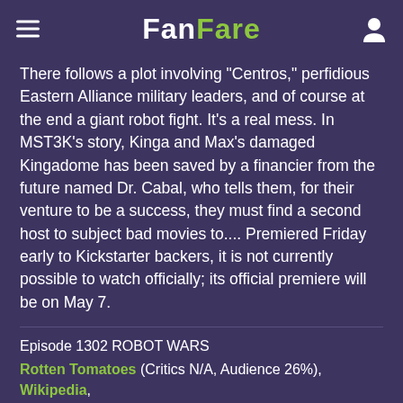FanFare
There follows a plot involving "Centros," perfidious Eastern Alliance military leaders, and of course at the end a giant robot fight. It's a real mess. In MST3K's story, Kinga and Max's damaged Kingadome has been saved by a financier from the future named Dr. Cabal, who tells them, for their venture to be a success, they must find a second host to subject bad movies to.... Premiered Friday early to Kickstarter backers, it is not currently possible to watch officially; its official premiere will be on May 7.
Episode 1302 ROBOT WARS
Rotten Tomatoes (Critics N/A, Audience 26%), Wikipedia, IMDB (1993, 4.0 stars)
"A renegade Megarobot pilot and an archaeologist must team up to thwart the Centro's attempts to resurrect a